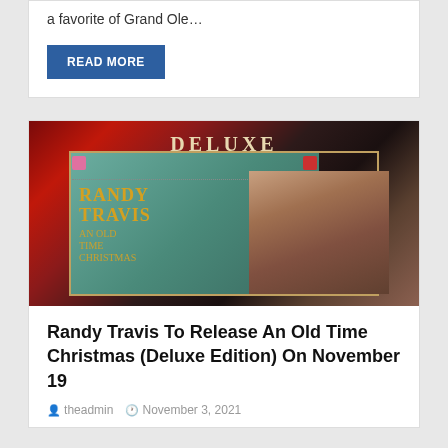a favorite of Grand Ole…
READ MORE
[Figure (photo): Album cover photo for Randy Travis An Old Time Christmas Deluxe Edition, showing the word DELUXE at the top, Randy Travis text and album title in gold lettering on the left, and a close-up portrait of Randy Travis on the right, with a dark red and teal decorative border.]
Randy Travis To Release An Old Time Christmas (Deluxe Edition) On November 19
theadmin   November 3, 2021